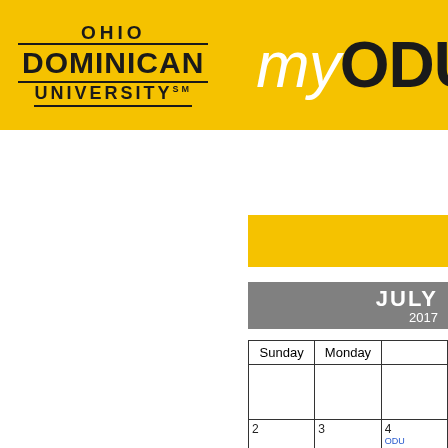[Figure (logo): Ohio Dominican University logo with text OHIO DOMINICAN UNIVERSITY on yellow background, alongside myODU text]
[Figure (other): Yellow decorative block]
JULY 2017
| Sunday | Monday | (Tuesday...) |
| --- | --- | --- |
|  |  |  |
| 2 | 3 | 4 / ODU Inde... |
| 9 | 10 | 11 |
| 16 | 17 | 18 |